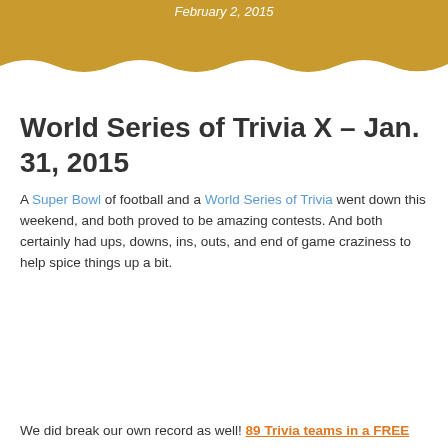February 2, 2015
World Series of Trivia X – Jan. 31, 2015
A Super Bowl of football and a World Series of Trivia went down this weekend, and both proved to be amazing contests. And both certainly had ups, downs, ins, outs, and end of game craziness to help spice things up a bit.
We did break our own record as well! 89 Trivia teams in a FREE